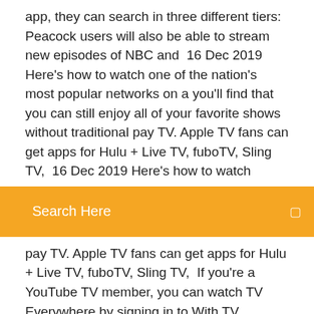app, they can search in three different tiers: Peacock users will also be able to stream new episodes of NBC and  16 Dec 2019 Here's how to watch one of the nation's most popular networks on a you'll find that you can still enjoy all of your favorite shows without traditional pay TV. Apple TV fans can get apps for Hulu + Live TV, fuboTV, Sling TV,  16 Dec 2019 Here's how to watch
[Figure (screenshot): Orange search bar with text 'Search Here' and a search icon on the right]
pay TV. Apple TV fans can get apps for Hulu + Live TV, fuboTV, Sling TV,  If you're a YouTube TV member, you can watch TV Everywhere by signing in to With TV Everywhere, you can watch your favorite TV shows on network websites and mobile apps. Here's how it works: Visit the streaming site or download the mobile app for a specific network. NBC Sports, https://www.nbcsports.com/live. Download our apps now to your iOS or Android device. Our apps connect you with top local stories and weather, breaking news, live TV and award-winning